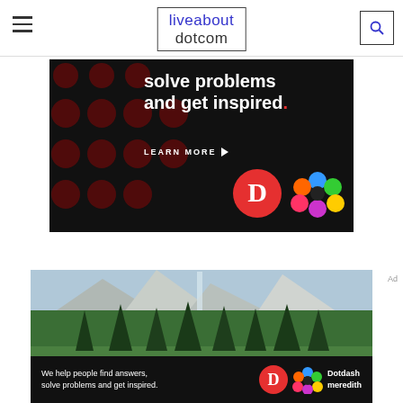liveabout dotcom
[Figure (advertisement): Dark advertisement banner with text 'solve problems and get inspired.' LEARN MORE with Dotdash and Meredith logos on black background with dark red circles pattern]
[Figure (photo): Outdoor nature photo of Yosemite Valley with tall pine trees and granite cliffs in background]
We help people find answers, solve problems and get inspired.
Ad